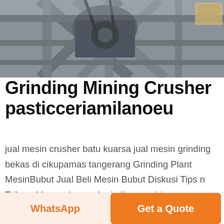[Figure (photo): Industrial grinding or mining machinery with metal frame and mechanical components visible, photograph taken indoors.]
Grinding Mining Crusher pasticceriamilanoeu
jual mesin crusher batu kuarsa jual mesin grinding bekas di cikupamas tangerang Grinding Plant MesinBubut Jual Beli Mesin Bubut Diskusi Tips n Trikmarble crusher and grinding machinery indonesia marble powder plant Shibboleth marble Copper Ore Crushing Processing Plant Price In Indonesia crusher Crushers Breakers and Grinding Mills Find Crushers Breakers and Grinding Mills products suppliers manufacturers and
WhatsApp | Get a Quote